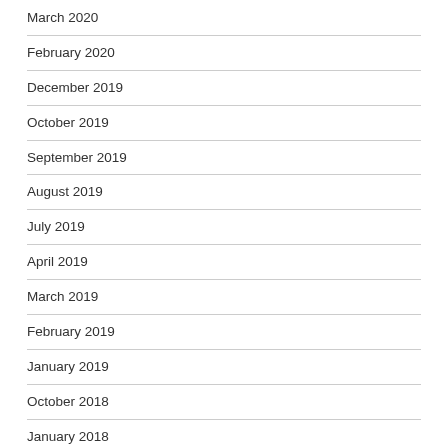March 2020
February 2020
December 2019
October 2019
September 2019
August 2019
July 2019
April 2019
March 2019
February 2019
January 2019
October 2018
January 2018